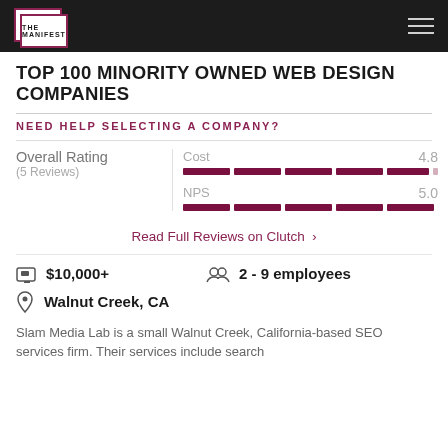THE MANIFEST
TOP 100 MINORITY OWNED WEB DESIGN COMPANIES
NEED HELP SELECTING A COMPANY?
|  | Metric | Score |
| --- | --- | --- |
| Overall Rating (5 Reviews) | Cost | 4.8 |
|  | NPS | 5.0 |
Read Full Reviews on Clutch >
$10,000+
2 - 9 employees
Walnut Creek, CA
Slam Media Lab is a small Walnut Creek, California-based SEO services firm. Their services include search